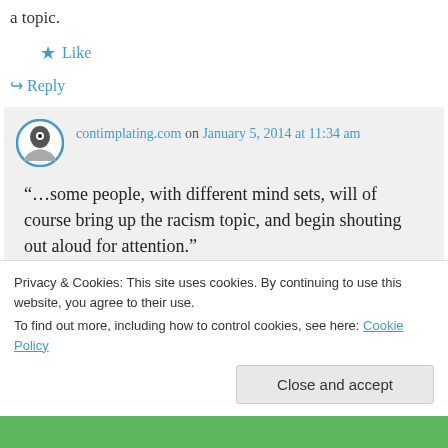a topic.
★ Like
↪ Reply
contimplating.com on January 5, 2014 at 11:34 am
“…some people, with different mind sets, will of course bring up the racism topic, and begin shouting out aloud for attention.”
Privacy & Cookies: This site uses cookies. By continuing to use this website, you agree to their use.
To find out more, including how to control cookies, see here: Cookie Policy
Close and accept